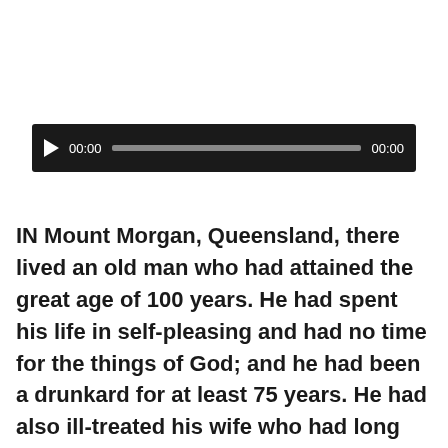[Figure (other): Audio player widget with play button, elapsed time 00:00, progress bar, and total time 00:00 on a dark background]
IN Mount Morgan, Queensland, there lived an old man who had attained the great age of 100 years. He had spent his life in self-pleasing and had no time for the things of God; and he had been a drunkard for at least 75 years. He had also ill-treated his wife who had long since gone to be with God. Surely it would be hard to find in the world a more apparently hopeless case than this!